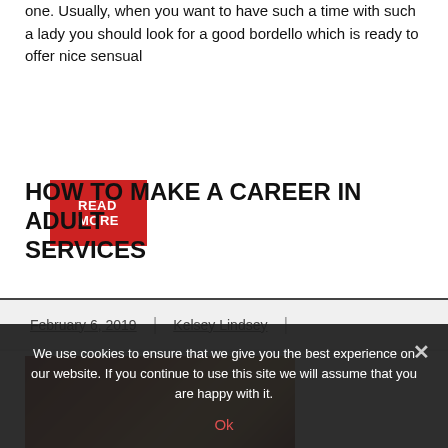one. Usually, when you want to have such a time with such a lady you should look for a good bordello which is ready to offer nice sensual
READ MORE
HOW TO MAKE A CAREER IN ADULT SERVICES
February 6, 2019 | Kelsey Lindsey |
[Figure (photo): Partial photo of a person with reddish-blonde hair, cropped at bottom of page]
We use cookies to ensure that we give you the best experience on our website. If you continue to use this site we will assume that you are happy with it.
Ok